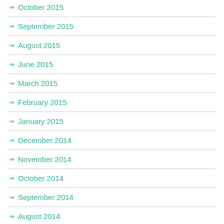October 2015
September 2015
August 2015
June 2015
March 2015
February 2015
January 2015
December 2014
November 2014
October 2014
September 2014
August 2014